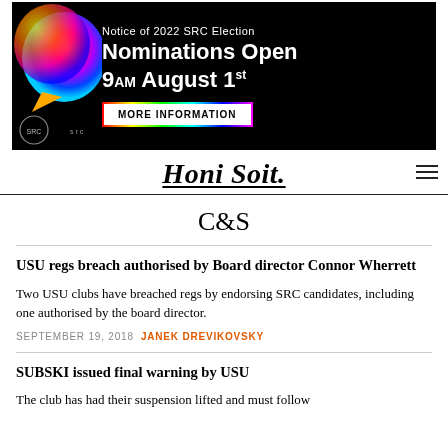[Figure (illustration): SRC Election advertisement banner on black background with colorful speech bubble graphic on left, text 'Notice of 2022 SRC Election Nominations Open 9am August 1st', a 'MORE INFORMATION' button with rainbow border, and SRC logo at bottom left.]
Honi Soit.
C&S
USU regs breach authorised by Board director Connor Wherrett
Two USU clubs have breached regs by endorsing SRC candidates, including one authorised by the board director.
SEPTEMBER 19, 2018 JANEK DREVIKOVSKY
SUBSKI issued final warning by USU
The club has had their suspension lifted and must follow